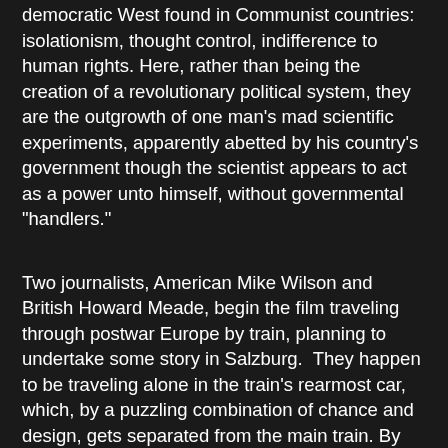democratic West found in Communist countries: isolationism, thought control, indifference to human rights. Here, rather than being the creation of a revolutionary political system, they are the outgrowth of one man's mad scientific experiments, apparently abetted by his country's government though the scientist appears to act as a power unto himself, without governmental "handlers."
Two journalists, American Mike Wilson and British Howard Meade, begin the film traveling through postwar Europe by train, planning to undertake some story in Salzburg.  They happen to be traveling alone in the train's rearmost car, which, by a puzzling combination of chance and design, gets separated from the main train. By "chance" I mean that the coupling holding the rear car apparently breaks of its own accord, while by "design" I mean that two young locals see the separated car coming down the track, and they reroute the track to take the hurtling car into the postage-stamp land of Gudavia.  I thought for a moment that they might have been spies who knew the journalists were aboard, and might have even engineered the coupling-break.  But the two